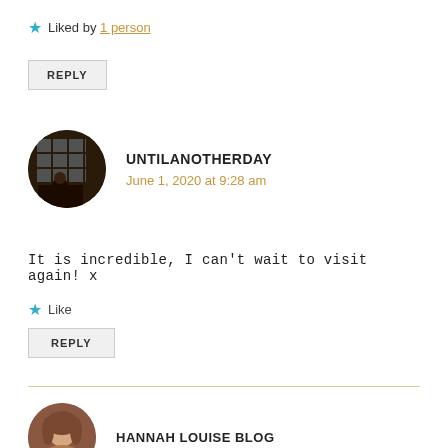★ Liked by 1 person
REPLY
[Figure (photo): Circular avatar photo showing a person sitting by a large grid window]
UNTILANOTHERDAY
June 1, 2020 at 9:28 am
It is incredible, I can't wait to visit again! x
★ Like
REPLY
[Figure (photo): Circular avatar photo of a woman with light hair]
HANNAH LOUISE BLOG